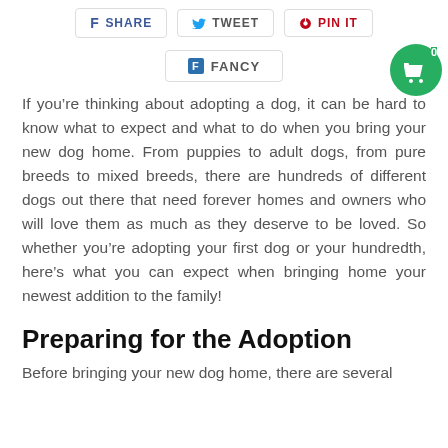[Figure (screenshot): Social sharing buttons: SHARE (Facebook), TWEET (Twitter), PIN IT (Pinterest), and FANCY (Fancy) buttons in a row, plus a green shopping cart bubble with count 0 in the top-right corner.]
If you’re thinking about adopting a dog, it can be hard to know what to expect and what to do when you bring your new dog home. From puppies to adult dogs, from pure breeds to mixed breeds, there are hundreds of different dogs out there that need forever homes and owners who will love them as much as they deserve to be loved. So whether you’re adopting your first dog or your hundredth, here’s what you can expect when bringing home your newest addition to the family!
Preparing for the Adoption
Before bringing your new dog home, there are several